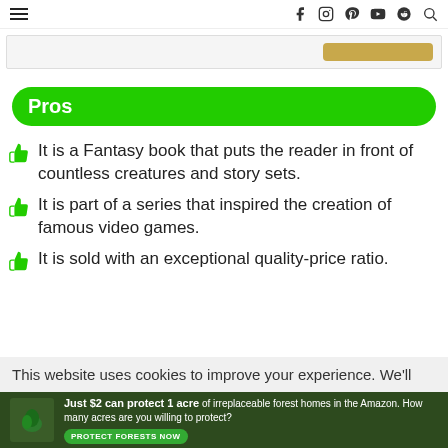≡  f  instagram  pinterest  youtube  reddit  search
[Figure (screenshot): Partial top banner with a gold/yellow button on the right]
Pros
It is a Fantasy book that puts the reader in front of countless creatures and story sets.
It is part of a series that inspired the creation of famous video games.
It is sold with an exceptional quality-price ratio.
This website uses cookies to improve your experience. We'll
[Figure (photo): Amazon forest advertisement banner: Just $2 can protect 1 acre of irreplaceable forest homes in the Amazon. How many acres are you willing to protect? PROTECT FORESTS NOW]